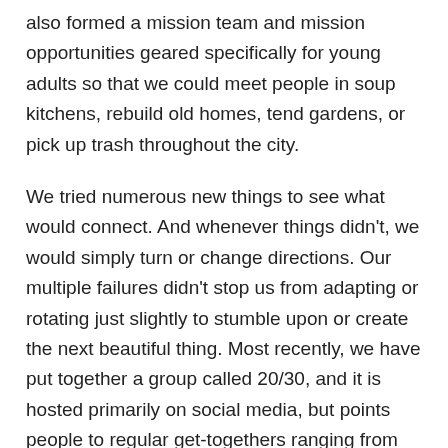also formed a mission team and mission opportunities geared specifically for young adults so that we could meet people in soup kitchens, rebuild old homes, tend gardens, or pick up trash throughout the city.
We tried numerous new things to see what would connect. And whenever things didn't, we would simply turn or change directions. Our multiple failures didn't stop us from adapting or rotating just slightly to stumble upon or create the next beautiful thing. Most recently, we have put together a group called 20/30, and it is hosted primarily on social media, but points people to regular get-togethers ranging from coffee hours 15 minutes before or after worship services to